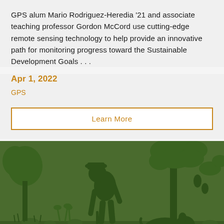GPS alum Mario Rodriguez-Heredia '21 and associate teaching professor Gordon McCord use cutting-edge remote sensing technology to help provide an innovative path for monitoring progress toward the Sustainable Development Goals . . .
Apr 1, 2022
GPS
Learn More
[Figure (illustration): Green-toned illustration showing silhouettes of a person bending over working in a field, trees with leaves, and an animal (pig/boar) in a lush agricultural/nature scene. All in dark and medium green tones on a darker green background.]